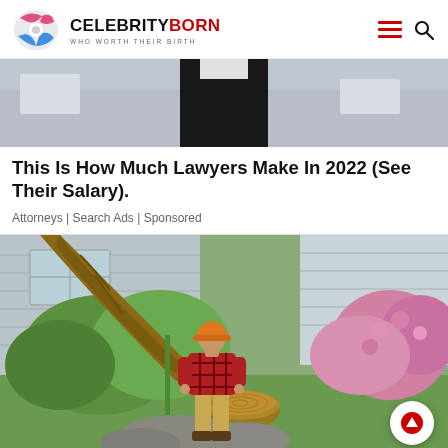CELEBRITYBORN — WHO WORTH THEIR BIRTH
[Figure (photo): Partial view of a person in a suit (lawyer/professional) cropped at torso level, blurred background]
This Is How Much Lawyers Make In 2022 (See Their Salary).
Attorneys | Search Ads | Sponsored
[Figure (photo): A man in a red plaid shirt and orange hard hat stands next to a large fallen tree trunk in a residential yard with pink flowering bushes and a grey house in the background]